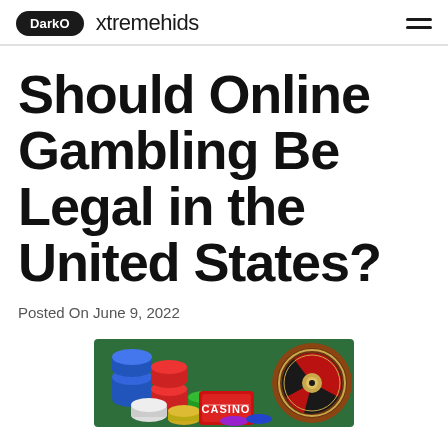DarkO  xtremehids
Should Online Gambling Be Legal in the United States?
Posted On June 9, 2022
[Figure (photo): Casino chips in red, blue, green, white colors piled up with a roulette wheel and a casino card box in the background]